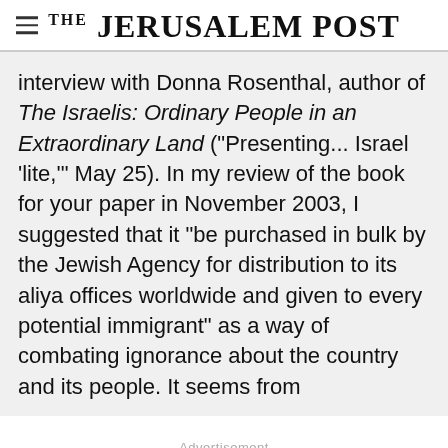THE JERUSALEM POST
interview with Donna Rosenthal, author of The Israelis: Ordinary People in an Extraordinary Land ("Presenting... Israel 'lite,'" May 25). In my review of the book for your paper in November 2003, I suggested that it "be purchased in bulk by the Jewish Agency for distribution to its aliya offices worldwide and given to every potential immigrant" as a way of combating ignorance about the country and its people. It seems from
Advertisement